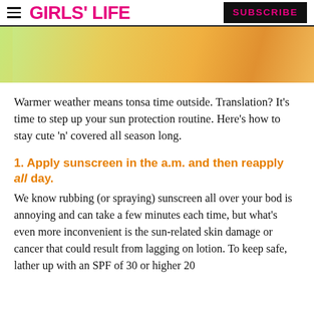GIRLS' LIFE   SUBSCRIBE
[Figure (photo): Cropped photo of a person wearing a yellow swimsuit top outdoors, with bright sunlight and greenery in the background.]
Warmer weather means tonsa time outside. Translation? It’s time to step up your sun protection routine. Here’s how to stay cute ‘n’ covered all season long.
1. Apply sunscreen in the a.m. and then reapply all day.
We know rubbing (or spraying) sunscreen all over your bod is annoying and can take a few minutes each time, but what’s even more inconvenient is the sun-related skin damage or cancer that could result from lagging on lotion. To keep safe, lather up with an SPF of 30 or higher 20